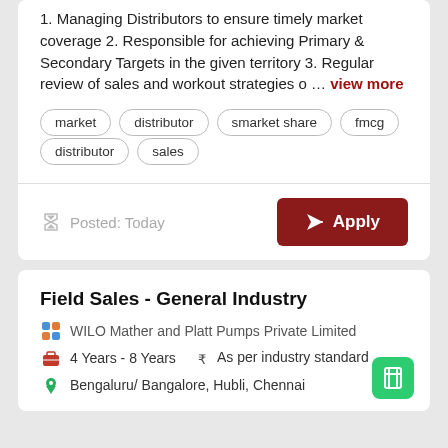1. Managing Distributors to ensure timely market coverage 2. Responsible for achieving Primary & Secondary Targets in the given territory 3. Regular review of sales and workout strategies o … view more
market
distributor
smarket share
fmcg
distributor
sales
Posted: Today
Field Sales - General Industry
WILO Mather and Platt Pumps Private Limited
4 Years - 8 Years   ₹ As per industry standard
Bengaluru/ Bangalore, Hubli, Chennai